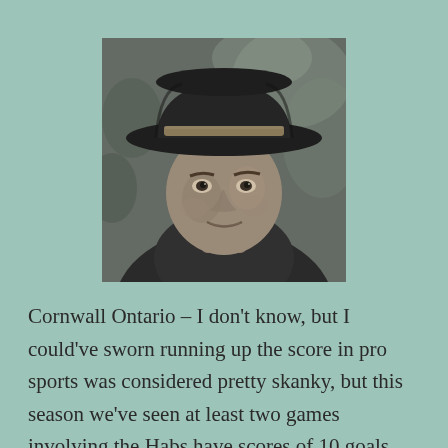[Figure (photo): Black and white photograph of a middle-aged man wearing a dark fedora hat with a light band, looking directly at the camera with a slight smile, wearing a dark collared shirt, with a textured dark background.]
Cornwall Ontario – I don't know, but I could've sworn running up the score in pro sports was considered pretty skanky, but this season we've seen at least two games involving the Habs have scores of 10 goals. Last night